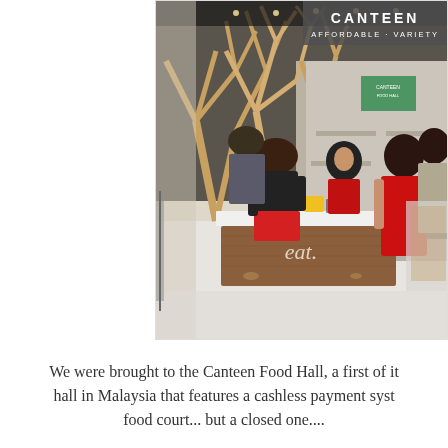[Figure (photo): Interior of a modern food hall called Canteen Food Hall featuring decorative wooden tree-branch structures on the ceiling, a central food counter/kiosk with 'eat.' branding and wooden paneling, staff in red uniforms serving customers, and a dining area with tables in the background. The image has a logo overlay in the top right reading 'CANTEEN' with 'AFFORDABLE · VARIETY' below.]
We were brought to the Canteen Food Hall, a first of it hall in Malaysia that features a cashless payment syst food court... but a closed one....